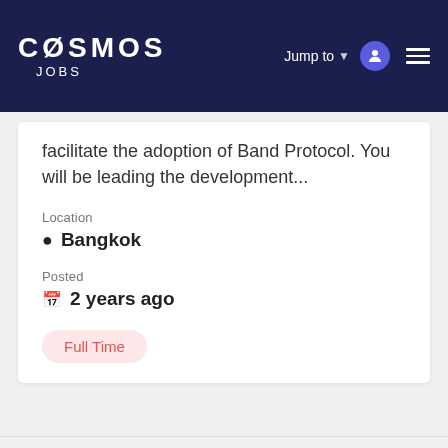Cosmos Jobs — Jump to
facilitate the adoption of Band Protocol. You will be leading the development...
Location
Bangkok
Posted
2 years ago
Full Time
[Figure (logo): Partial circular blue logo at bottom of page]